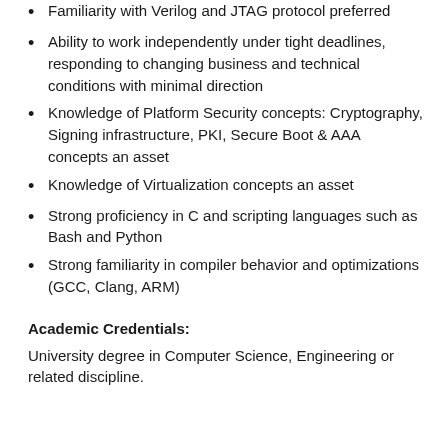Familiarity with Verilog and JTAG protocol preferred
Ability to work independently under tight deadlines, responding to changing business and technical conditions with minimal direction
Knowledge of Platform Security concepts: Cryptography, Signing infrastructure, PKI, Secure Boot & AAA concepts an asset
Knowledge of Virtualization concepts an asset
Strong proficiency in C and scripting languages such as Bash and Python
Strong familiarity in compiler behavior and optimizations (GCC, Clang, ARM)
Academic Credentials:
University degree in Computer Science, Engineering or related discipline.